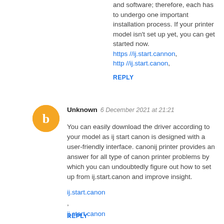and software; therefore, each has to undergo one important installation process. If your printer model isn't set up yet, you can get started now.
https //ij.start.cannon,
http //ij.start.canon,
REPLY
[Figure (illustration): Orange circle avatar with a white 'b' letter in the center, representing a Blogger user avatar]
Unknown  6 December 2021 at 21:21
You can easily download the driver according to your model as ij start canon is designed with a user-friendly interface. canonij printer provides an answer for all type of canon printer problems by which you can undoubtedly figure out how to set up from ij.start.canon and improve insight.
ij.start.canon ,
ij.start canon
REPLY